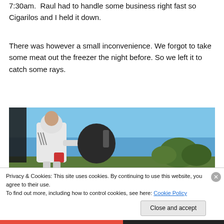7:30am. Raul had to handle some business right fast so Cigarilos and I held it down.
There was however a small inconvenience. We forgot to take some meat out the freezer the night before. So we left it to catch some rays.
[Figure (photo): A person in a white hoodie standing outdoors near a black barrel/grill, blue sky background with trees on hillside.]
Privacy & Cookies: This site uses cookies. By continuing to use this website, you agree to their use.
To find out more, including how to control cookies, see here: Cookie Policy
Close and accept